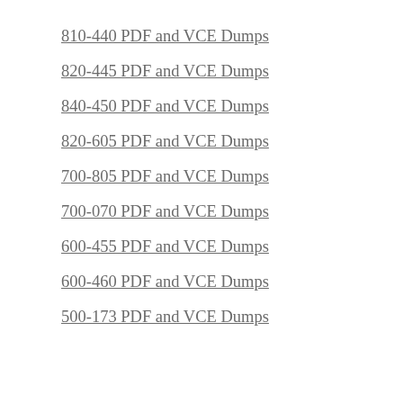810-440 PDF and VCE Dumps
820-445 PDF and VCE Dumps
840-450 PDF and VCE Dumps
820-605 PDF and VCE Dumps
700-805 PDF and VCE Dumps
700-070 PDF and VCE Dumps
600-455 PDF and VCE Dumps
600-460 PDF and VCE Dumps
500-173 PDF and VCE Dumps